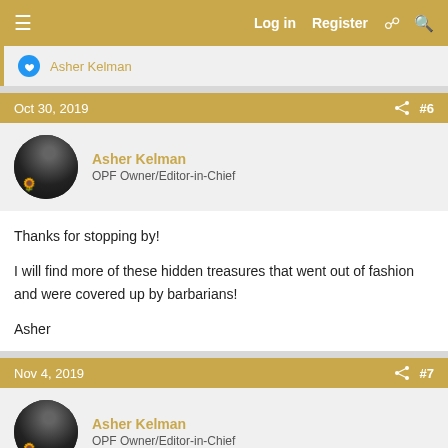Log in  Register
Asher Kelman
Oct 30, 2019  #6
Asher Kelman
OPF Owner/Editor-in-Chief
Thanks for stopping by!

I will find more of these hidden treasures that went out of fashion and were covered up by barbarians!

Asher
Nov 4, 2019  #7
Asher Kelman
OPF Owner/Editor-in-Chief